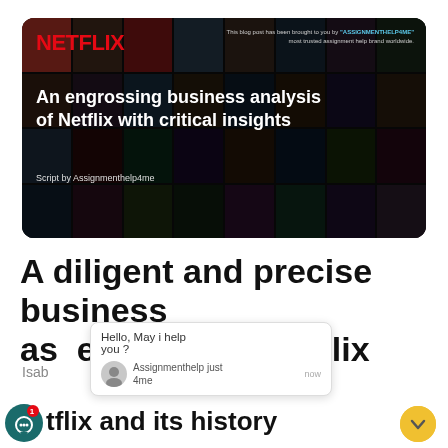[Figure (illustration): Netflix branded banner image showing movie/show thumbnails in a grid, with Netflix logo top-left, text overlay reading 'An engrossing business analysis of Netflix with critical insights', subtitle 'Script by Assignmenthelp4me', and small text top-right mentioning ASSIGNMENTHELP4ME brand.]
A diligent and precise business assessment of Netflix
Isab Assignmenthelp just 4me now | 26 Mar,2021
Netflix and its history